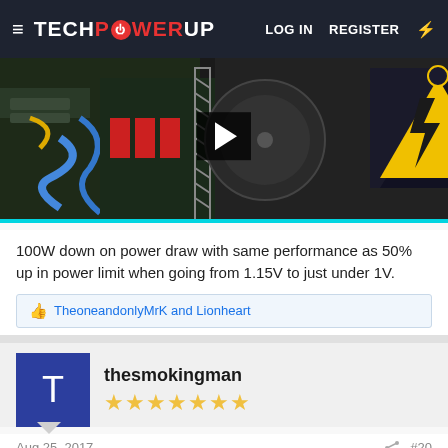TechPowerUp — LOG IN  REGISTER
[Figure (screenshot): Video thumbnail showing PC hardware with cables and a yellow electrical hazard warning triangle; play button overlay in center]
100W down on power draw with same performance as 50% up in power limit when going from 1.15V to just under 1V.
TheoneandonlyMrK and Lionheart
thesmokingman ★★★★★★★
Aug 25, 2017   #20
HD64G said: